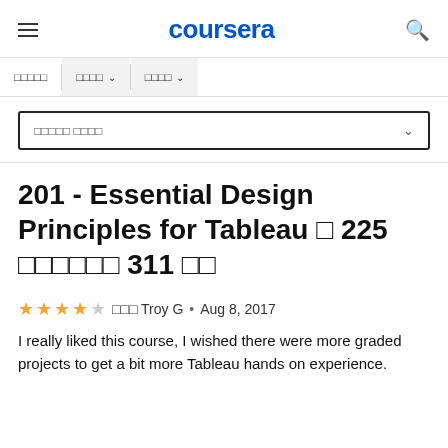coursera
□□□□□  □□□□ ∨  □□□□ ∨
□□□□□ □□□□ ∨
201 - Essential Design Principles for Tableau □ 225 □□□□□□ 311 □□
★★★★☆ □□□ Troy G • Aug 8, 2017
I really liked this course, I wished there were more graded projects to get a bit more Tableau hands on experience.